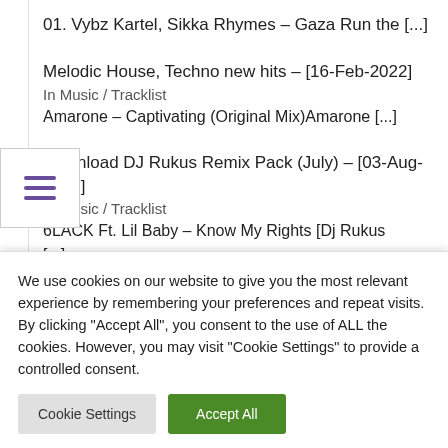01. Vybz Kartel, Sikka Rhymes – Gaza Run the […]
Melodic House, Techno new hits – [16-Feb-2022]
In Music / Tracklist
Amarone – Captivating (Original Mix)Amarone […]
Download DJ Rukus Remix Pack (July) – [03-Aug-2020]
In Music / Tracklist
6LACK Ft. Lil Baby – Know My Rights [Dj Rukus […]
We use cookies on our website to give you the most relevant experience by remembering your preferences and repeat visits. By clicking "Accept All", you consent to the use of ALL the cookies. However, you may visit "Cookie Settings" to provide a controlled consent.